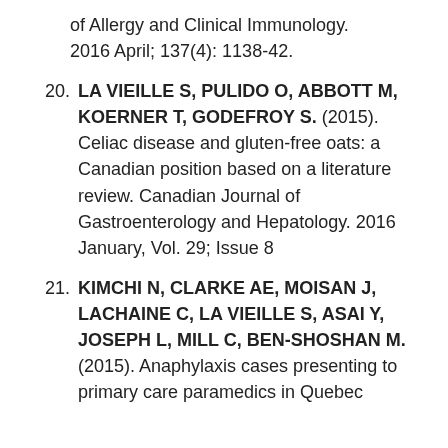(continuation) of Allergy and Clinical Immunology. 2016 April; 137(4): 1138-42.
20. LA VIEILLE S, PULIDO O, ABBOTT M, KOERNER T, GODEFROY S. (2015). Celiac disease and gluten-free oats: a Canadian position based on a literature review. Canadian Journal of Gastroenterology and Hepatology. 2016 January, Vol. 29; Issue 8
21. KIMCHI N, CLARKE AE, MOISAN J, LACHAINE C, LA VIEILLE S, ASAI Y, JOSEPH L, MILL C, BEN-SHOSHAN M. (2015). Anaphylaxis cases presenting to primary care paramedics in Quebec